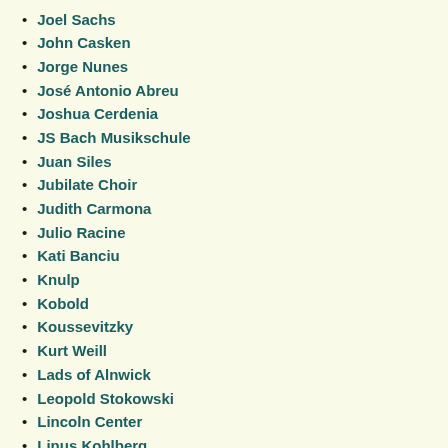Joel Sachs
John Casken
Jorge Nunes
José Antonio Abreu
Joshua Cerdenia
JS Bach Musikschule
Juan Siles
Jubilate Choir
Judith Carmona
Julio Racine
Kati Banciu
Knulp
Kobold
Koussevitzky
Kurt Weill
Lads of Alnwick
Leopold Stokowski
Lincoln Center
Linus Kohlberg
LoA
Luz Bolivia Sánchez
Madeleine Isaksson